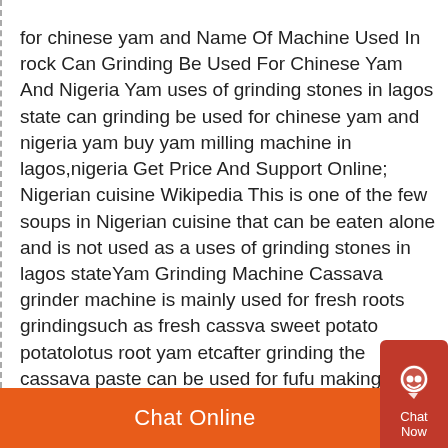for chinese yam and Name Of Machine Used In rock Can Grinding Be Used For Chinese Yam And Nigeria Yam uses of grinding stones in lagos state can grinding be used for chinese yam and nigeria yam buy yam milling machine in lagos,nigeria Get Price And Support Online; Nigerian cuisine Wikipedia This is one of the few soups in Nigerian cuisine that can be eaten alone and is not used as a uses of grinding stones in lagos stateYam Grinding Machine Cassava grinder machine is mainly used for fresh roots grindingsuch as fresh cassva sweet potato potatolotus root yam etcafter grinding the cassava paste can be used for fufu making attik making etcyou can put cassava into machine after cleaning If you want to learn about our products , please call or write mail consultationYam Grinding Machine html5campde
Chat Online